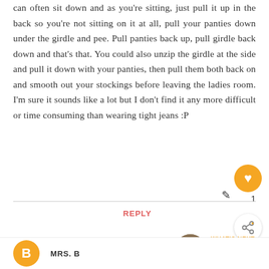can often sit down and as you're sitting, just pull it up in the back so you're not sitting on it at all, pull your panties down under the girdle and pee. Pull panties back up, pull girdle back down and that's that. You could also unzip the girdle at the side and pull it down with your panties, then pull them both back on and smooth out your stockings before leaving the ladies room. I'm sure it sounds like a lot but I don't find it any more difficult or time consuming than wearing tight jeans :P
REPLY
WHAT'S NEXT → Outfit: Tire Swing
MRS. B